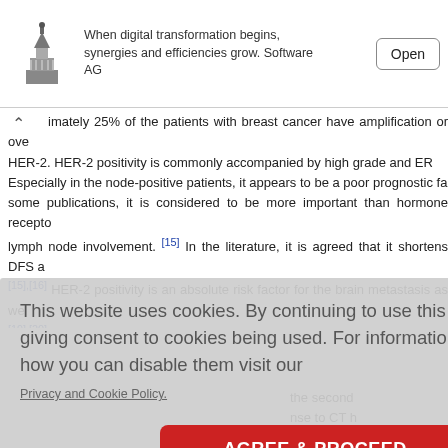[Figure (other): Advertisement banner with capitol building logo, text about Software AG digital transformation, and an Open button]
...imately 25% of the patients with breast cancer have amplification or ove HER-2. HER-2 positivity is commonly accompanied by high grade and ER Especially in the node-positive patients, it appears to be a poor prognostic fa some publications, it is considered to be more important than hormone recepto lymph node involvement. [15] In the literature, it is agreed that it shortens DFS a [15],[16] HER-2 positivity is an absolute risk factor for the brain metastasis as we [19],[20] In both univariate and multivariate analysis, we found that patients with h ...ure; we pre the second nse to CT [4] ILC leads prognosis with the liter e the ILC co asis develo
This website uses cookies. By continuing to use this website you are giving consent to cookies being used. For information on cookies and how you can disable them visit our
Privacy and Cookie Policy.
AGREE & PROCEED